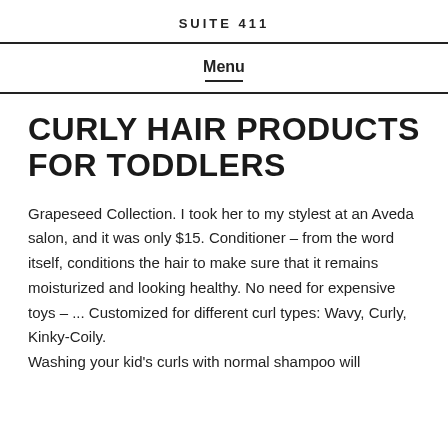SUITE 411
Menu
CURLY HAIR PRODUCTS FOR TODDLERS
Grapeseed Collection. I took her to my stylest at an Aveda salon, and it was only $15. Conditioner – from the word itself, conditions the hair to make sure that it remains moisturized and looking healthy. No need for expensive toys – ... Customized for different curl types: Wavy, Curly, Kinky-Coily. Washing your kid's curls with normal shampoo will